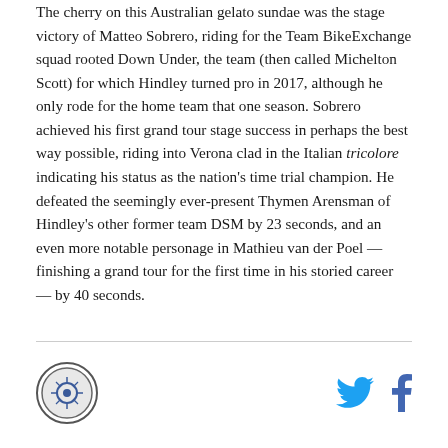The cherry on this Australian gelato sundae was the stage victory of Matteo Sobrero, riding for the Team BikeExchange squad rooted Down Under, the team (then called Michelton Scott) for which Hindley turned pro in 2017, although he only rode for the home team that one season. Sobrero achieved his first grand tour stage success in perhaps the best way possible, riding into Verona clad in the Italian tricolore indicating his status as the nation's time trial champion. He defeated the seemingly ever-present Thymen Arensman of Hindley's other former team DSM by 23 seconds, and an even more notable personage in Mathieu van der Poel — finishing a grand tour for the first time in his storied career — by 40 seconds.
[Figure (logo): Circular logo icon]